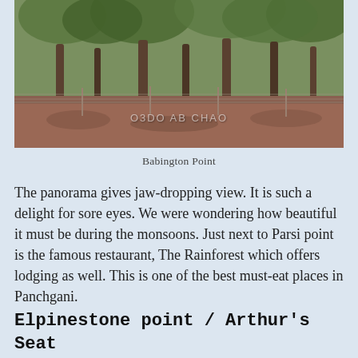[Figure (photo): Outdoor photo of trees and dry red earth at Babington Point, with a watermark text overlay reading 'O3DO AB CHAO']
Babington Point
The panorama gives jaw-dropping view. It is such a delight for sore eyes. We were wondering how beautiful it must be during the monsoons. Just next to Parsi point is the famous restaurant, The Rainforest which offers lodging as well. This is one of the best must-eat places in Panchgani.
Elpinestone point / Arthur's Seat